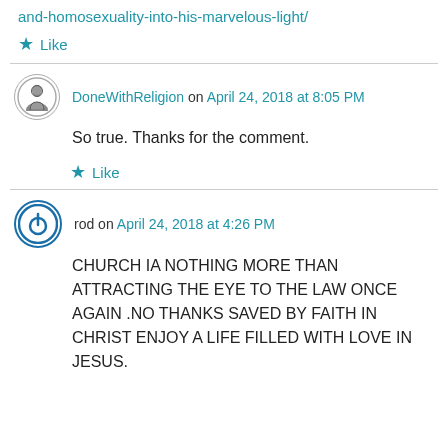and-homosexuality-into-his-marvelous-light/
★ Like
DoneWithReligion on April 24, 2018 at 8:05 PM
So true. Thanks for the comment.
★ Like
rod on April 24, 2018 at 4:26 PM
CHURCH IA NOTHING MORE THAN ATTRACTING THE EYE TO THE LAW ONCE AGAIN .NO THANKS SAVED BY FAITH IN CHRIST ENJOY A LIFE FILLED WITH LOVE IN JESUS.